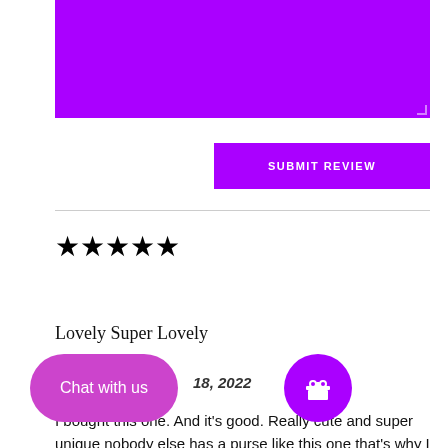[Figure (screenshot): Purple/violet textarea input field (form element, empty)]
SUBMIT REVIEW
★★★★★
Lovely Super Lovely
18, 2022
I bought this one. And it's good. Really cute and super unique nobody else has a purse like this one that's why I love it.
[Figure (screenshot): Chat with us pill button (magenta/pink)]
[Figure (screenshot): Gift icon circle button (purple)]